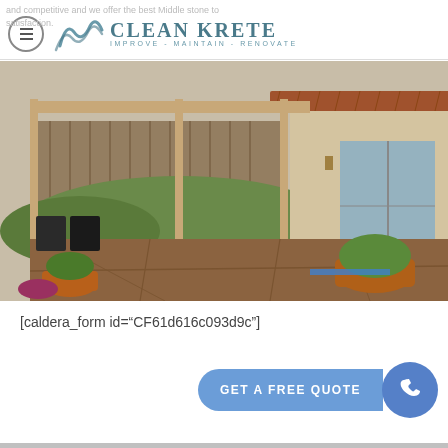Clean Krete — IMPROVE - MAINTAIN - RENOVATE
[Figure (photo): Outdoor patio with stamped/stained concrete, covered pergola, garden area with rocks and chairs, terracotta planters, and a residential home in background]
[caldera_form id="CF61d616c093d9c"]
GET A FREE QUOTE